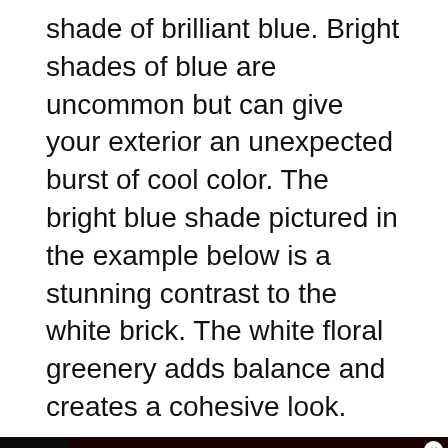shade of brilliant blue. Bright shades of blue are uncommon but can give your exterior an unexpected burst of cool color. The bright blue shade pictured in the example below is a stunning contrast to the white brick. The white floral greenery adds balance and creates a cohesive look.
[Figure (screenshot): UI overlay showing a golden heart/like button with count of 2, a share button, a 'What's Next' widget showing 'What Color Siding Goes...' with a house thumbnail, and an advertisement banner at the bottom with a dog image and text 'CHANGE A LIFE']